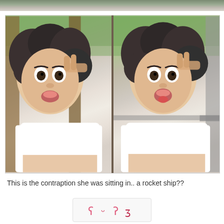[Figure (photo): Top partial strip of a photo, cropped at top of page]
[Figure (photo): Side-by-side photos of a woman with curly hair making funny faces (wide eyes and mouth, tongue out) while sitting in a metal frame structure (rocket ship contraption), wearing a white top, outdoors with green trees in background]
This is the contraption she was sitting in.. a rocket ship??
[Figure (other): Emoji/emoticon row: (^v^)z style emoticons in pink/red]